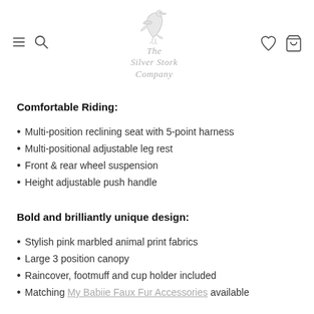The Silver Stork Company
Comfortable Riding:
Multi-position reclining seat with 5-point harness
Multi-positional adjustable leg rest
Front & rear wheel suspension
Height adjustable push handle
Bold and brilliantly unique design:
Stylish pink marbled animal print fabrics
Large 3 position canopy
Raincover, footmuff and cup holder included
Matching My Babiie Faux Fur Accessories available